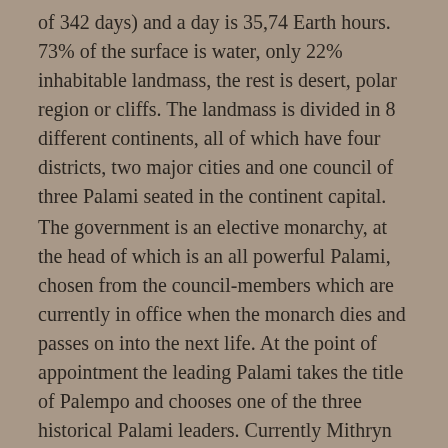of 342 days) and a day is 35,74 Earth hours. 73% of the surface is water, only 22% inhabitable landmass, the rest is desert, polar region or cliffs. The landmass is divided in 8 different continents, all of which have four districts, two major cities and one council of three Palami seated in the continent capital.
The government is an elective monarchy, at the head of which is an all powerful Palami, chosen from the council-members which are currently in office when the monarch dies and passes on into the next life. At the point of appointment the leading Palami takes the title of Palempo and chooses one of the three historical Palami leaders. Currently Mithryn III is on the throne at an age of 623.
History
Recorded history goes back over ten thousand years, because of the longer lifespan of the average Telemnar most of this history is anecdotal rather than proven or written